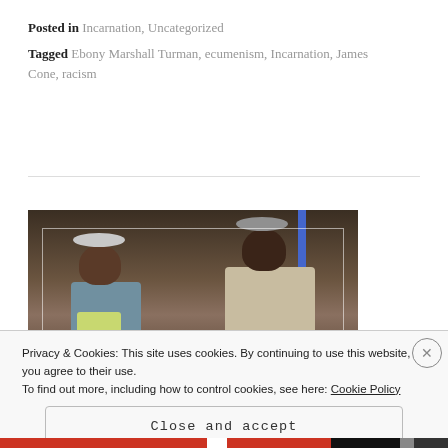Posted in Incarnation, Uncategorized
Tagged Ebony Marshall Turman, ecumenism, Incarnation, James Cone, racism
[Figure (photo): Two older Black men in hats sitting on a bench on a theater stage set, appearing to be in conversation. The man on the left wears a light blue jacket and yellow-green shirt; the man on the right wears a beige suit.]
Privacy & Cookies: This site uses cookies. By continuing to use this website, you agree to their use.
To find out more, including how to control cookies, see here: Cookie Policy
Close and accept